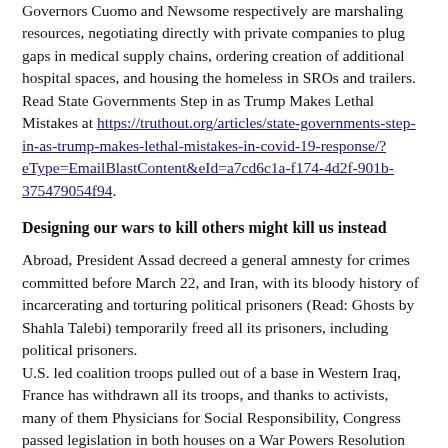Governors Cuomo and Newsome respectively are marshaling resources, negotiating directly with private companies to plug gaps in medical supply chains, ordering creation of additional hospital spaces, and housing the homeless in SROs and trailers. Read State Governments Step in as Trump Makes Lethal Mistakes at https://truthout.org/articles/state-governments-step-in-as-trump-makes-lethal-mistakes-in-covid-19-response/?eType=EmailBlastContent&eId=a7cd6c1a-f174-4d2f-901b-375479054f94.
Designing our wars to kill others might kill us instead
Abroad, President Assad decreed a general amnesty for crimes committed before March 22, and Iran, with its bloody history of incarcerating and torturing political prisoners (Read: Ghosts by Shahla Talebi) temporarily freed all its prisoners, including political prisoners.
U.S. led coalition troops pulled out of a base in Western Iraq, France has withdrawn all its troops, and thanks to activists, many of them Physicians for Social Responsibility, Congress passed legislation in both houses on a War Powers Resolution that requires congressional approval before Trump can OK further